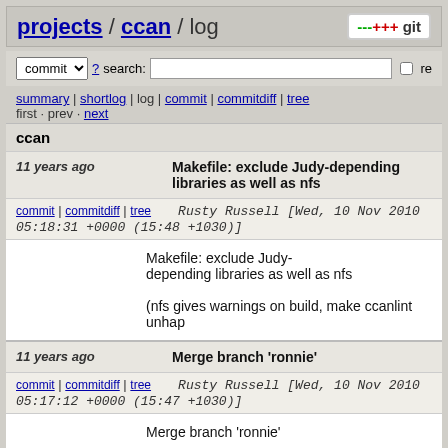projects / ccan / log
commit search: re
summary | shortlog | log | commit | commitdiff | tree
first · prev · next
ccan
11 years ago   Makefile: exclude Judy-depending libraries as well as nfs
commit | commitdiff | tree   Rusty Russell [Wed, 10 Nov 2010 05:18:31 +0000 (15:48 +1030)]
Makefile: exclude Judy-depending libraries as well as nfs

(nfs gives warnings on build, make ccanlint unhap
11 years ago   Merge branch 'ronnie'
commit | commitdiff | tree   Rusty Russell [Wed, 10 Nov 2010 05:17:12 +0000 (15:47 +1030)]
Merge branch 'ronnie'
11 years ago   compiler: shorten names of attributes, add